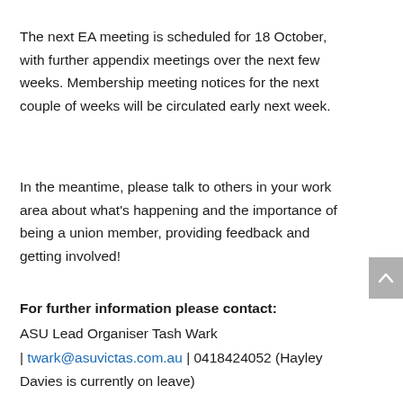The next EA meeting is scheduled for 18 October, with further appendix meetings over the next few weeks. Membership meeting notices for the next couple of weeks will be circulated early next week.
In the meantime, please talk to others in your work area about what's happening and the importance of being a union member, providing feedback and getting involved!
For further information please contact:
ASU Lead Organiser Tash Wark
| twark@asuvictas.com.au | 0418424052 (Hayley Davies is currently on leave)